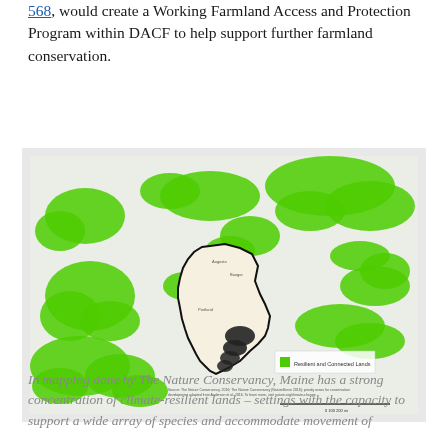568, would create a Working Farmland Access and Protection Program within DACF to help support further farmland conservation.
[Figure (map): A map showing climate-resilient lands (shown in green) across the northeastern United States and southeastern Canada, with Maine outlined in black. Legend indicates 'Resilient and Connected Lands'. Source: The Nature Conservancy.]
In mapping done by The Nature Conservancy, Maine has a strong concentration of climate-resilient lands – settings with the capacity to support a wide array of species and accommodate movement of